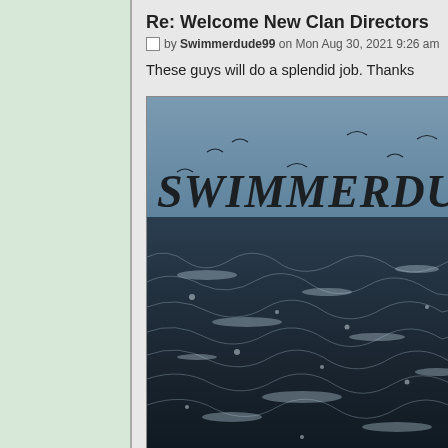Re: Welcome New Clan Directors
by Swimmerdude99 on Mon Aug 30, 2021 9:26 am
These guys will do a splendid job. Thanks
[Figure (illustration): Banner image with text 'SWIMMERDUDE99' overlaid on a dark ocean wave scene with birds flying, in a monochromatic blue-gray style]